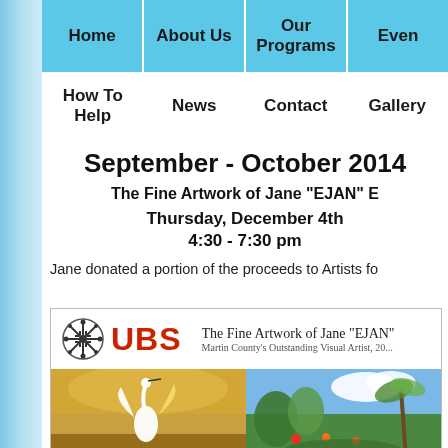Home | About Us | Our Programs | Even...
How To Help | News | Contact | Gallery
September - October 2014
The Fine Artwork of Jane "EJAN" E...
Thursday, December 4th
4:30 - 7:30 pm
Jane donated a portion of the proceeds to Artists fo...
[Figure (infographic): UBS logo with snowflake icon and red UBS text on left. Title 'The Fine Artwork of Jane "EJAN"' and subtitle 'Martin County's Outstanding Visual Artist, 20...' on right. Below are two painting images: left shows a white egret/heron bird with golden/warm tones, right shows a tropical landscape with green trees and blue sky.]